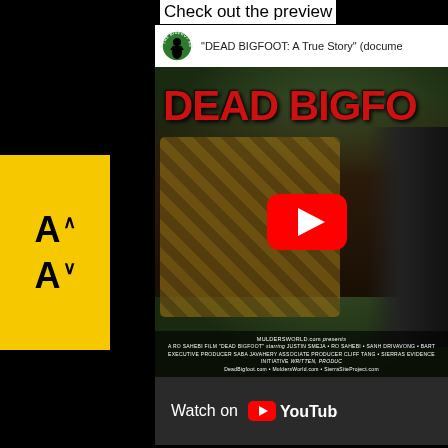Check out the preview
[Figure (screenshot): YouTube video embed showing 'DEAD BIGFOOT: A True Story' documentary. Features The Bigfoot Report channel logo (green circle with bigfoot silhouette), video thumbnail with a man aiming a rifle scope with large red 'DEAD BIGFOOT' text overlay and a YouTube play button in the center. Bottom of video shows credits: MULDERSWORLD.com presents, A RO SAHEBI film 'DEAD BIGFOOT' starring JUSTIN SMEJA + RO SAHEBI + SANH DRIVAVONG + BART, EXECUTIVE PRODUCER SABA JAVAHERY ASSOCIATE PRODUCER CLIFF TANG + SIERRAS EVIDENCE INITIATIVE, WritTEN, PRODUC. DeadBigfoot.com + MuldersWorld.com + SierraSiteProject.com. Below the video: 'Watch on YouTube' bar.]
[Figure (logo): Yellow rectangle with font size controls: A with up arrow and A with down arrow (text size increase/decrease buttons)]